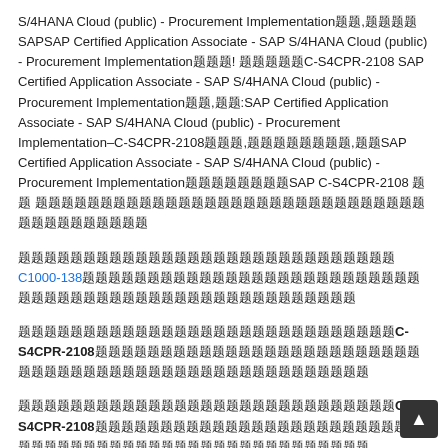S/4HANA Cloud (public) - Procurement Implementation题库,题题题题SAP SAP Certified Application Associate - SAP S/4HANA Cloud (public) - Procurement Implementation题目! 题题题题题C-S4CPR-2108 SAP Certified Application Associate - SAP S/4HANA Cloud (public) - Procurement Implementation题题,题题:SAP Certified Application Associate - SAP S/4HANA Cloud (public) - Procurement Implementation–C-S4CPR-2108题题题,题题题题题题题题,题题SAP Certified Application Associate - SAP S/4HANA Cloud (public) - Procurement Implementation题题题题题题SAP C-S4CPR-2108 题题 题题题题题题题题题题题题题题题题题题题题题题题题题题题题题题题题题题题
题题题题题题题题题题题题题题题题题题题题题题题题题题题C1000-138题题题题题题题题题题题题题题题题题题题题题题题题题题题题题题题题题题题题题题题题题题题题题题题题题题题
题题题题题题题题题题题题题题题题题题题题题题题题题题题C-S4CPR-2108题题题题题题题题题题题题题题题题题题题题题题题题题题题题题题题题题题题题题题题题题题题题题题题题题题题题
题题题题题题题题题题题题题题题题题题题题题题题题题题题C-S4CPR-2108题题题题题题题题题题题题题题题题题题题题题题题题题题题题题题题题题题题题题题题题题题题题题题题题题题题题
题题题题题题题题题题题题题题题题题题题题题题题题题题题题题题题题题